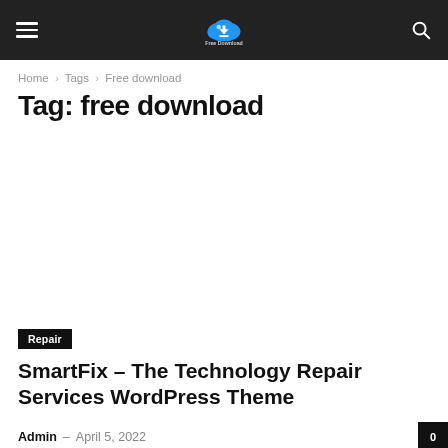Free Download — site header with hamburger menu, logo, and search icon
Home › Tags › Free download
Tag: free download
[Figure (other): Large image placeholder area (white/empty) for article thumbnail]
Repair
SmartFix – The Technology Repair Services WordPress Theme
Admin – April 5, 2022   0